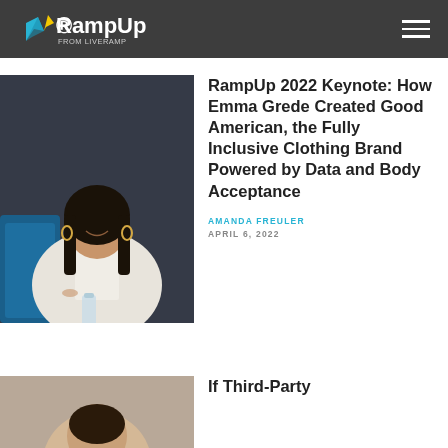RampUp from LiveRamp
[Figure (photo): Photo of Emma Grede smiling at a conference event, seated in a blue velvet chair, wearing a white blazer, with a water bottle on the table in front of her.]
RampUp 2022 Keynote: How Emma Grede Created Good American, the Fully Inclusive Clothing Brand Powered by Data and Body Acceptance
AMANDA FREULER
APRIL 6, 2022
[Figure (photo): Partial photo of a person, cropped at the bottom of the page.]
If Third-Party